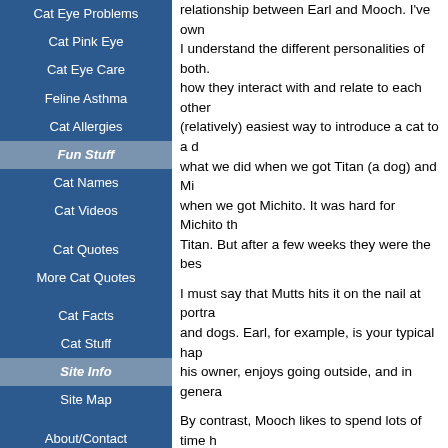Cat Eye Problems
Cat Pink Eye
Cat Eye Care
Feline Asthma
Cat Allergies
Fun Stuff
Cat Names
Cat Videos
Cat Quotes
More Cat Quotes
Cat Facts
Cat Stuff
Site Info
Site Map
About/Contact
Website Rules
Privacy Policy
Affil/Ad Disclosure
relationship between Earl and Mooch. I've own... I understand the different personalities of both. how they interact with and relate to each other (relatively) easiest way to introduce a cat to a d... what we did when we got Titan (a dog) and Mi... when we got Michito. It was hard for Michito th... Titan. But after a few weeks they were the bes...
I must say that Mutts hits it on the nail at portra... and dogs. Earl, for example, is your typical hap... his owner, enjoys going outside, and in genera...
By contrast, Mooch likes to spend lots of time h... alone with a sock. He also favors staying indo... not to say that cats don't like going outside, bu... reserved than dogs). And, like a true cat, he na... close relationship with Earl. In fact, they spend... have several other animal friends.
Characters
Here's a partial list of the Mutts comic strip's m...
Earl
In many ways, Earl is your typical dog. He sha... Ozzie who is a single guy. And like a typical do... time with his human friend. In fact, he loves ha...